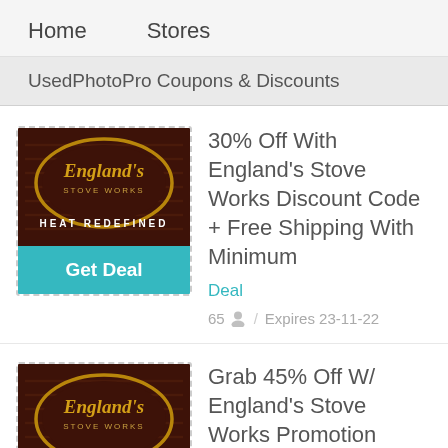Home   Stores
UsedPhotoPro Coupons & Discounts
30% Off With England's Stove Works Discount Code + Free Shipping With Minimum
Deal
65 / Expires 23-11-22
[Figure (logo): England's Stove Works HEAT REDEFINED logo with Get Deal button]
Grab 45% Off W/ England's Stove Works Promotion Code
Deal
[Figure (logo): England's Stove Works HEAT REDEFINED logo]